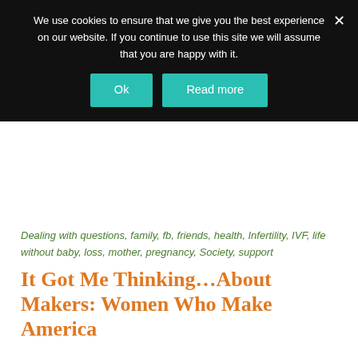We use cookies to ensure that we give you the best experience on our website. If you continue to use this site we will assume that you are happy with it.
Ok | Read more
Dealing with questions, family, fb, friends, health, Infertility, IVF, life without baby, loss, mother, pregnancy, Society, support
It Got Me Thinking…About Makers: Women Who Make America
July 4, 2014
By Kathleen Guthrie Woods
[Figure (illustration): Cartoon illustration of a woman with brown hair on an orange background]
I stumbled upon this fantastic interview of Gloria Steinem in which she addresses—among other